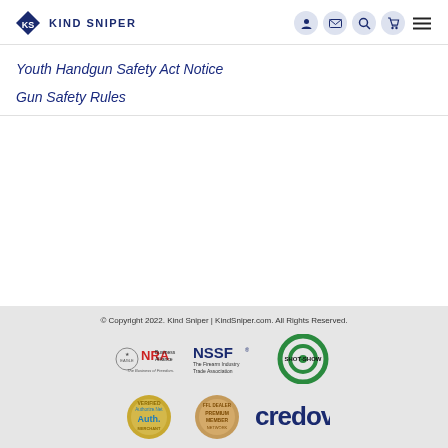KIND SNIPER
Youth Handgun Safety Act Notice
Gun Safety Rules
© Copyright 2022. Kind Sniper | KindSniper.com. All Rights Reserved.
[Figure (logo): NRA Business Alliance - The Business of Freedom logo]
[Figure (logo): NSSF The Firearm Industry Trade Association logo]
[Figure (logo): SHOT SHOW logo]
[Figure (logo): Authorize.Net Verified Merchant logo]
[Figure (logo): FFL Dealer Premium Member Network logo]
[Figure (logo): credova logo]